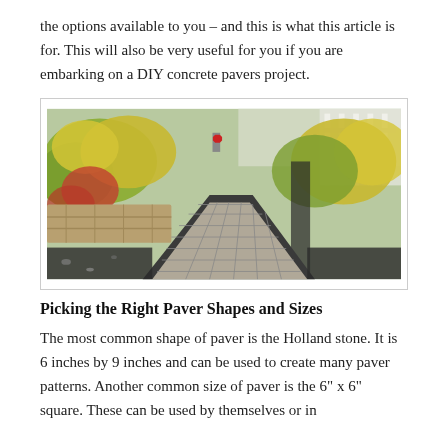the options available to you – and this is what this article is for. This will also be very useful for you if you are embarking on a DIY concrete pavers project.
[Figure (photo): Photograph of a concrete paver walkway flanked by garden beds with colorful shrubs and flowers, stone retaining wall on the left, white fence visible in background.]
Picking the Right Paver Shapes and Sizes
The most common shape of paver is the Holland stone. It is 6 inches by 9 inches and can be used to create many paver patterns. Another common size of paver is the 6" x 6" square. These can be used by themselves or in